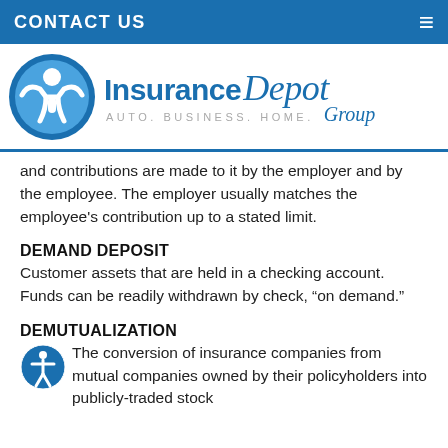CONTACT US
[Figure (logo): Insurance Depot Group logo with circular blue icon and text 'Insurance Depot Group - AUTO. BUSINESS. HOME.']
and contributions are made to it by the employer and by the employee. The employer usually matches the employee's contribution up to a stated limit.
DEMAND DEPOSIT
Customer assets that are held in a checking account. Funds can be readily withdrawn by check, "on demand."
DEMUTUALIZATION
The conversion of insurance companies from mutual companies owned by their policyholders into publicly-traded stock